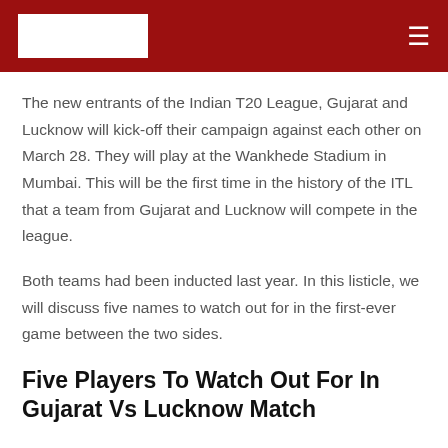[Logo] ≡
The new entrants of the Indian T20 League, Gujarat and Lucknow will kick-off their campaign against each other on March 28. They will play at the Wankhede Stadium in Mumbai. This will be the first time in the history of the ITL that a team from Gujarat and Lucknow will compete in the league.
Both teams had been inducted last year. In this listicle, we will discuss five names to watch out for in the first-ever game between the two sides.
Five Players To Watch Out For In Gujarat Vs Lucknow Match